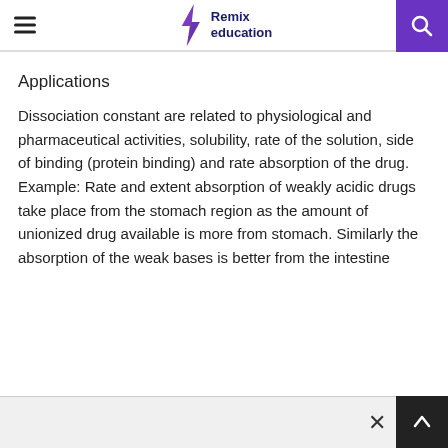Remix education
Applications
Dissociation constant are related to physiological and pharmaceutical activities, solubility, rate of the solution, side of binding (protein binding) and rate absorption of the drug. Example: Rate and extent absorption of weakly acidic drugs take place from the stomach region as the amount of unionized drug available is more from stomach. Similarly the absorption of the weak bases is better from the intestine